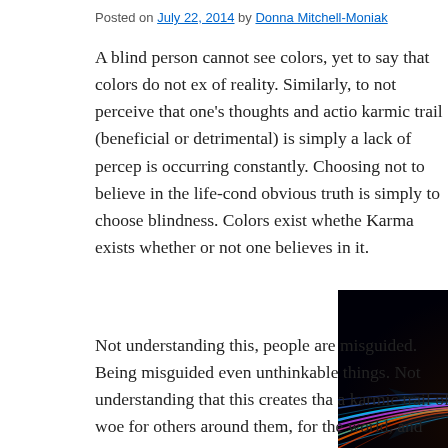Posted on July 22, 2014 by Donna Mitchell-Moniak
A blind person cannot see colors, yet to say that colors do not ex of reality. Similarly, to not perceive that one’s thoughts and actio karmic trail (beneficial or detrimental) is simply a lack of percep is occurring constantly. Choosing not to believe in the life-cond obvious truth is simply to choose blindness. Colors exist whethe Karma exists whether or not one believes in it.
[Figure (photo): Abstract image of colorful light streams (cyan, blue, purple, pink, orange, red) converging on a dark/black background, suggesting energy or karma flows.]
Not understanding this, people are misguided. Being misguided even unthinkable things. Not understanding that this creates tha a karmic trail of woe for others around them, for the world, and that energy put in motion creates predictable results, the conscio